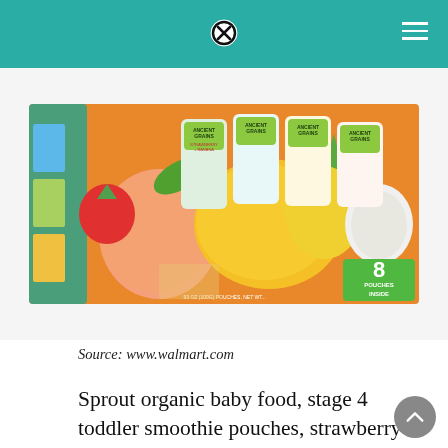[Figure (photo): Product photo of Sprout Organic Ancient Grains baby food pouches variety pack, showing fruits (peach, mango, pineapple, strawberry, apple) and 4 pouches labeled Ancient Grains in different flavors, with a green badge showing '8 POUCHES INSIDE']
Source: www.walmart.com
Sprout organic baby food, stage 4 toddler smoothie pouches, strawberry banana & peach banana with yogurt variety pack, 4 oz purees (pack of. You can also narrow by type, expiration date, model and country region of manufacture or opt for one of our baby food pouches variety pack ⓧitorial picks.